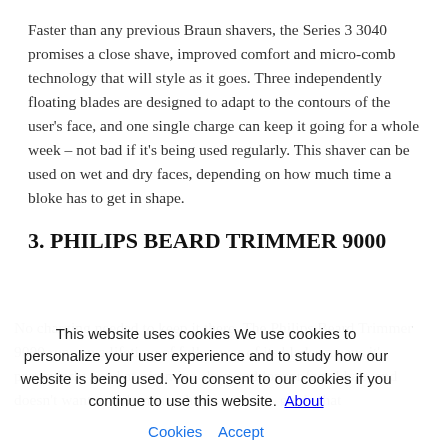Faster than any previous Braun shavers, the Series 3 3040 promises a close shave, improved comfort and micro-comb technology that will style as it goes. Three independently floating blades are designed to adapt to the contours of the user's face, and one single charge can keep it going for a whole week – not bad if it's being used regularly. This shaver can be used on wet and dry faces, depending on how much time a bloke has to get in shape.
3. PHILIPS BEARD TRIMMER 9000
This website uses cookies We use cookies to personalize your user experience and to study how our website is being used. You consent to our cookies if you continue to use this website. About Cookies Accept